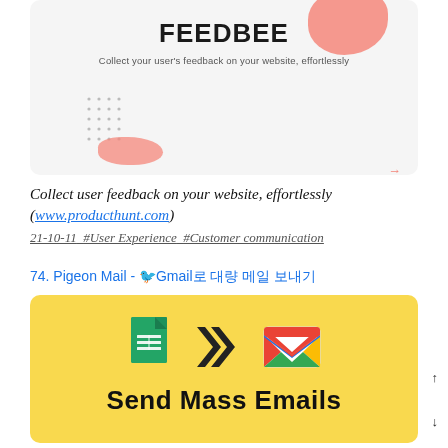[Figure (screenshot): Feedbee product screenshot card with title FEEDBEE, subtitle 'Collect your user's feedback on your website, effortlessly', pink decorative blobs, dot pattern, and arrow]
Collect user feedback on your website, effortlessly (www.producthunt.com)
21-10-11  #User Experience  #Customer communication
74. Pigeon Mail - 🐦Gmail로 대량 메일 보내기
[Figure (screenshot): Pigeon Mail product card with yellow background, Google Sheets icon, chevron arrows, Gmail icon, and bold text 'Send Mass Emails']